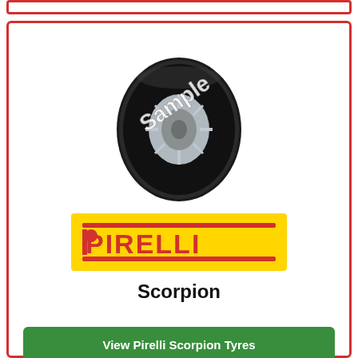[Figure (photo): Product card with Pirelli Scorpion tyre image (sample watermark), Pirelli logo on yellow background, product name, view button and price]
Scorpion
View Pirelli Scorpion Tyres
Prices from £149.00